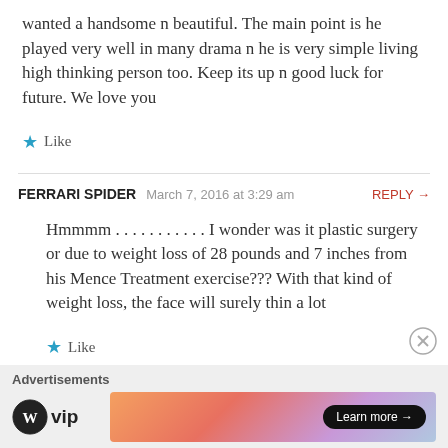wanted a handsome n beautiful. The main point is he played very well in many drama n he is very simple living high thinking person too. Keep its up n good luck for future. We love you
Like
FERRARI SPIDER  March 7, 2016 at 3:29 am  REPLY →
Hmmmm . . . . . . . . . . . I wonder was it plastic surgery or due to weight loss of 28 pounds and 7 inches from his Mence Treatment exercise??? With that kind of weight loss, the face will surely thin a lot
Like
Advertisements
[Figure (logo): WordPress VIP logo with WP circle icon and 'vip' text]
[Figure (infographic): Advertisement banner with gradient orange-pink-purple colors and 'Learn more →' button]